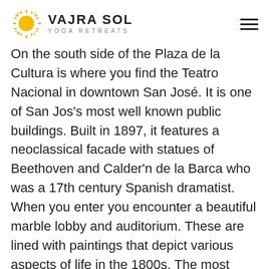VAJRA SOL YOGA RETREATS
On the south side of the Plaza de la Cultura is where you find the Teatro Nacional in downtown San José. It is one of San Jos's most well known public buildings. Built in 1897, it features a neoclassical facade with statues of Beethoven and Calder'n de la Barca who was a 17th century Spanish dramatist. When you enter you encounter a beautiful marble lobby and auditorium. These are lined with paintings that depict various aspects of life in the 1800s. The most famous is Alegor'a al café y el banano. This is a large canvas that illustrates coffee and banana harvests. The painting was created in Italy and shipped to Costa Rica. There are performances year round at reasonable prices and you can go to their web site to